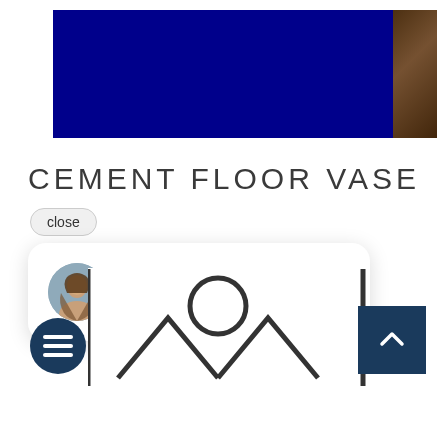[Figure (screenshot): Product image banner showing dark navy/blue panel on left and brown/dark panel on right, resembling a vase product page header image]
CEMENT FLOOR VASE
[Figure (screenshot): Chat widget showing: close button, chat bubble with female avatar and text 'Hi there! Have a question? Text us here!', dark navy chat icon button, scroll-to-top dark navy button, and partial product icon graphic at bottom]